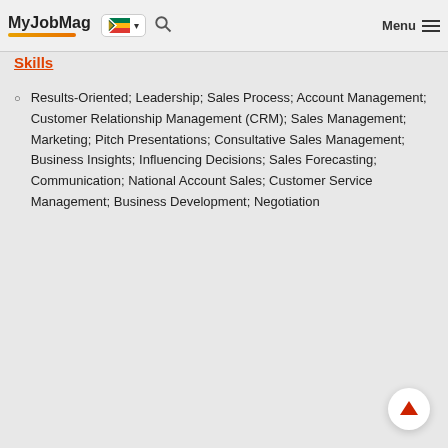MyJobMag [South Africa flag] Menu
Skills
Results-Oriented; Leadership; Sales Process; Account Management; Customer Relationship Management (CRM); Sales Management; Marketing; Pitch Presentations; Consultative Sales Management; Business Insights; Influencing Decisions; Sales Forecasting; Communication; National Account Sales; Customer Service Management; Business Development; Negotiation